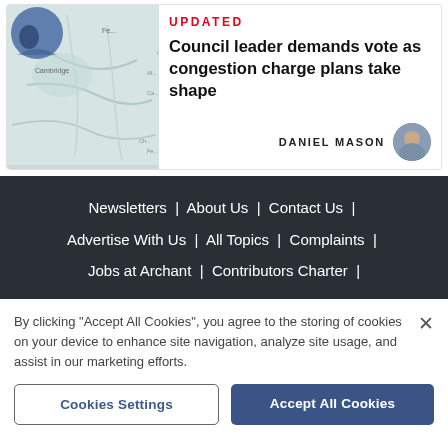[Figure (map): Map showing Cambridge and surrounding area]
UPDATED
Council leader demands vote as congestion charge plans take shape
DANIEL MASON
Newsletters | About Us | Contact Us | Advertise With Us | All Topics | Complaints | Jobs at Archant | Contributors Charter |
By clicking "Accept All Cookies", you agree to the storing of cookies on your device to enhance site navigation, analyze site usage, and assist in our marketing efforts.
Cookies Settings
Accept All Cookies